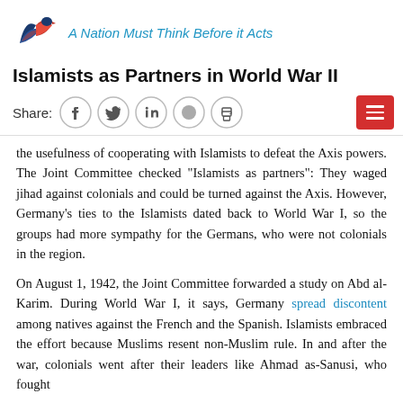A Nation Must Think Before it Acts
Islamists as Partners in World War II
Share:
the usefulness of cooperating with Islamists to defeat the Axis powers. The Joint Committee checked "Islamists as partners": They waged jihad against colonials and could be turned against the Axis. However, Germany's ties to the Islamists dated back to World War I, so the groups had more sympathy for the Germans, who were not colonials in the region.
On August 1, 1942, the Joint Committee forwarded a study on Abd al-Karim. During World War I, it says, Germany spread discontent among natives against the French and the Spanish. Islamists embraced the effort because Muslims resent non-Muslim rule. In and after the war, colonials went after their leaders like Ahmad as-Sanusi, who fought